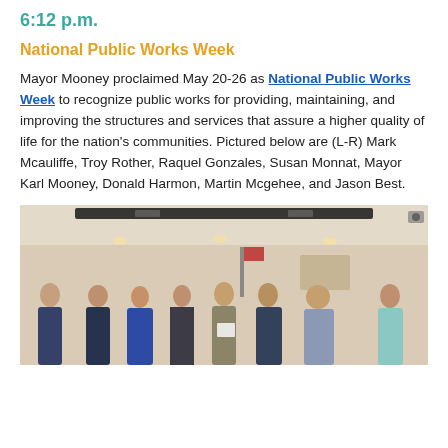6:12 p.m.
National Public Works Week
Mayor Mooney proclaimed May 20-26 as National Public Works Week to recognize public works for providing, maintaining, and improving the structures and services that assure a higher quality of life for the nation's communities. Pictured below are (L-R) Mark Mcauliffe, Troy Rother, Raquel Gonzales, Susan Monnat, Mayor Karl Mooney, Donald Harmon, Martin Mcgehee, and Jason Best.
[Figure (photo): Group photo of eight people standing in a row in a meeting room. From left to right: Mark Mcauliffe, Troy Rother, Raquel Gonzales, Susan Monnat, Mayor Karl Mooney, Donald Harmon, Martin Mcgehee, and Jason Best. Mayor Karl Mooney is holding a document/proclamation.]